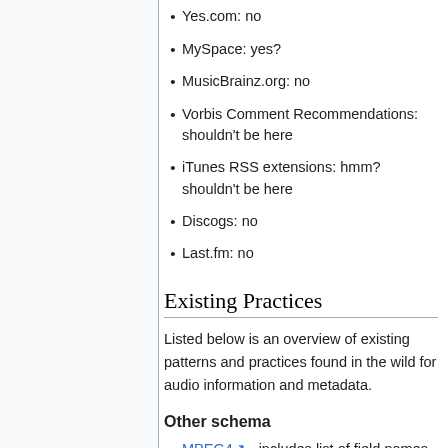Yes.com: no
MySpace: yes?
MusicBrainz.org: no
Vorbis Comment Recommendations: shouldn't be here
iTunes RSS extensions: hmm? shouldn't be here
Discogs: no
Last.fm: no
Existing Practices
Listed below is an overview of existing patterns and practices found in the wild for audio information and metadata.
Other schema
MPEG4 - includes list of field names, for example "Genre", "Track number", "Disk number".